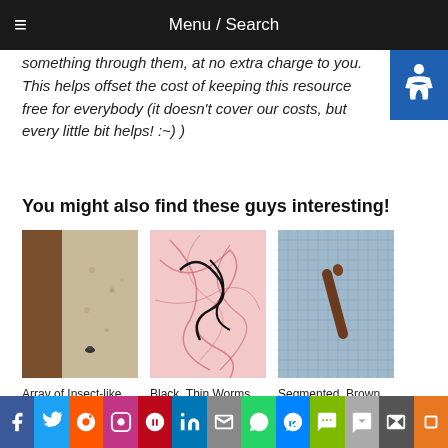Menu / Search
something through them, at no extra charge to you. This helps offset the cost of keeping this resource free for everybody (it doesn't cover our costs, but every little bit helps! :~) )
You might also find these guys interesting!
[Figure (photo): Array of insect-like creatures on a carpet near a wood surface]
Array of Insect-like Creatures Found in Home Includes a Ladybug and a Cockroach
[Figure (photo): Black thin worm-like organisms on pink fibrous surface]
Black, Thin Worms Found In and On Body: Medical Consultation Advised
[Figure (photo): Segmented brown worm on blue fabric/mesh surface]
Segmented, Brown Worm in Spearmint Plant is Likely a Caterpillar